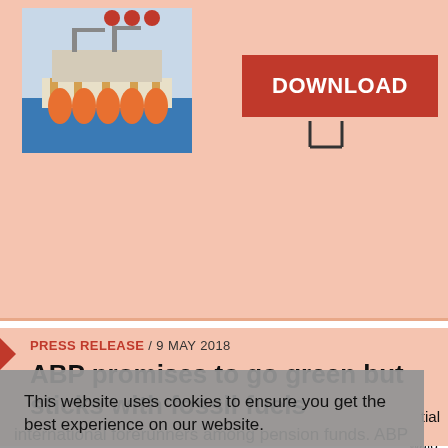[Figure (photo): Oil rig platform at sea with orange/red structure, magazine cover style image]
[Figure (other): Red DOWNLOAD button with speech bubble/arrow style]
PRESS RELEASE / 9 MAY 2018
ABP promises to go green but sticks with fossil fuels
This website uses cookies to ensure you get the best experience on our website.
Learn more
Decline
Allow cookies
wald
tial
international forerunners among pension funds. ABP